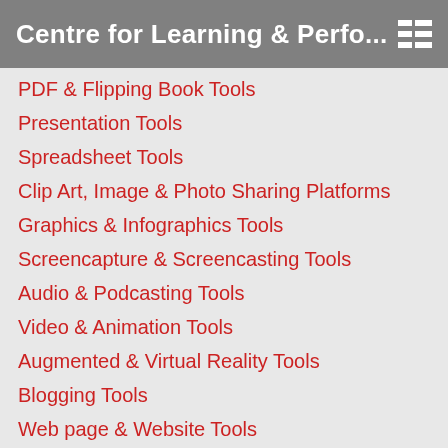Centre for Learning & Perfo...
PDF & Flipping Book Tools
Presentation Tools
Spreadsheet Tools
Clip Art, Image & Photo Sharing Platforms
Graphics & Infographics Tools
Screencapture & Screencasting Tools
Audio & Podcasting Tools
Video & Animation Tools
Augmented & Virtual Reality Tools
Blogging Tools
Web page & Website Tools
Forms, Polling & Survey Tools
This website uses cookies to improve your experience. We'll assume you're ok with this, but you can opt-out if you wish.
Accept  Reject  Read More